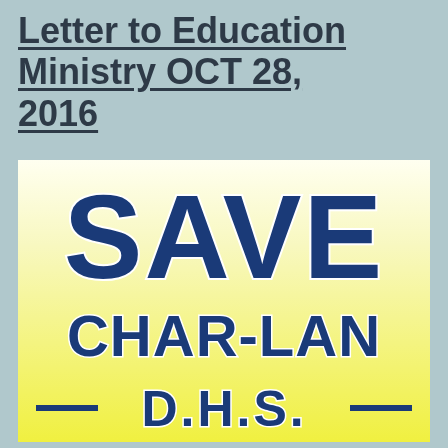Letter to Education Ministry OCT 28, 2016
[Figure (logo): Save Char-Lan D.H.S. campaign logo with large bold blue text on a yellow gradient background]